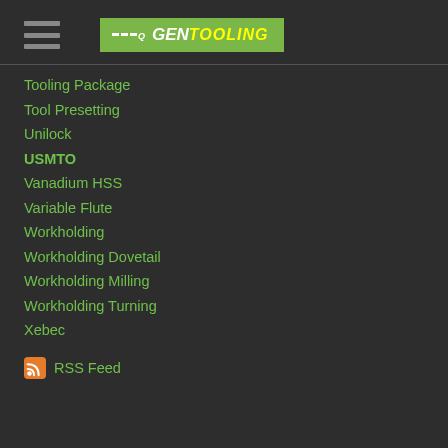[Figure (logo): GenTooling logo with hamburger menu icon on dark background]
Tooling Package
Tool Presetting
Unilock
USMTO
Vanadium HSS
Variable Flute
Workholding
Workholding Dovetail
Workholding Milling
Workholding Turning
Xebec
RSS Feed